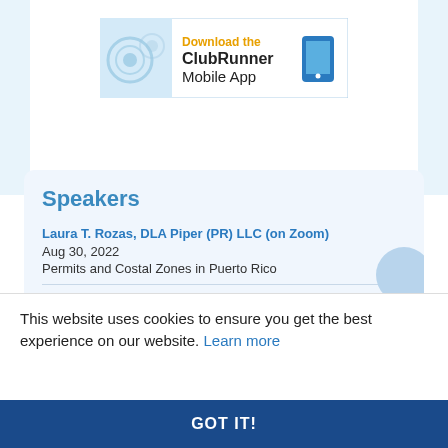[Figure (screenshot): ClubRunner Mobile App advertisement banner with gear/cog icon, phone icon, orange text 'Download the' and black text 'ClubRunner Mobile App']
Speakers
Laura T. Rozas, DLA Piper (PR) LLC (on Zoom)
Aug 30, 2022
Permits and Costal Zones in Puerto Rico
LABOR DAY - No Meeting
Sep 06, 2022
Silent Auction
This website uses cookies to ensure you get the best experience on our website. Learn more
GOT IT!